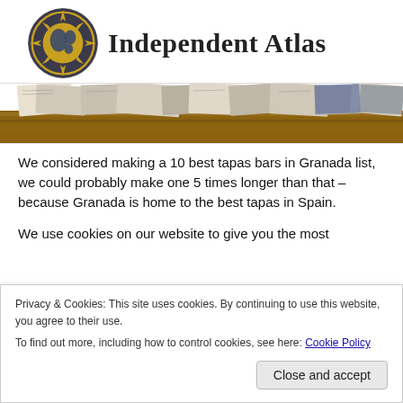Independent Atlas
[Figure (photo): Cropped photo showing what appears to be newspapers or maps on a wooden surface/shelf]
We considered making a 10 best tapas bars in Granada list, we could probably make one 5 times longer than that – because Granada is home to the best tapas in Spain.
We use cookies on our website to give you the most
Privacy & Cookies: This site uses cookies. By continuing to use this website, you agree to their use.
To find out more, including how to control cookies, see here: Cookie Policy